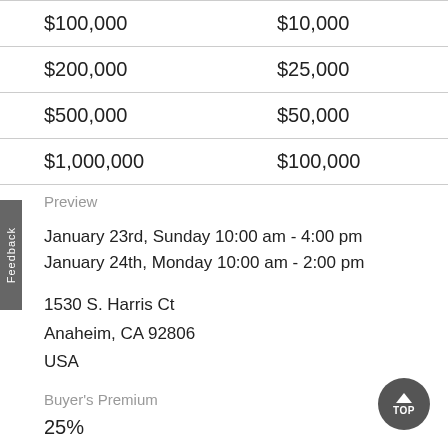| $100,000 | $10,000 |
| $200,000 | $25,000 |
| $500,000 | $50,000 |
| $1,000,000 | $100,000 |
Preview
January 23rd, Sunday 10:00 am - 4:00 pm
January 24th, Monday 10:00 am - 2:00 pm
1530 S. Harris Ct
Anaheim, CA 92806
USA
Buyer's Premium
25%